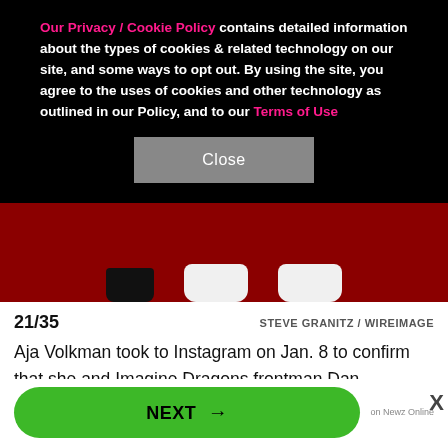Our Privacy / Cookie Policy contains detailed information about the types of cookies & related technology on our site, and some ways to opt out. By using the site, you agree to the uses of cookies and other technology as outlined in our Policy, and to our Terms of Use
[Figure (photo): Bottom portion of a red carpet photo showing feet/shoes on red carpet background. One pair of black sandals on the left and two pairs of white sneakers in the center-right.]
21/35    STEVE GRANITZ / WIREIMAGE
Aja Volkman took to Instagram on Jan. 8 to confirm that she and Imagine Dragons frontman Dan Reynolds are working on their marriage. (The duo announced in April that they were calling it quits but sparked reconciliation rumors in late 2018.) "I'm proud of you @danreynolds " she captioned a photo of the singer, with whom she